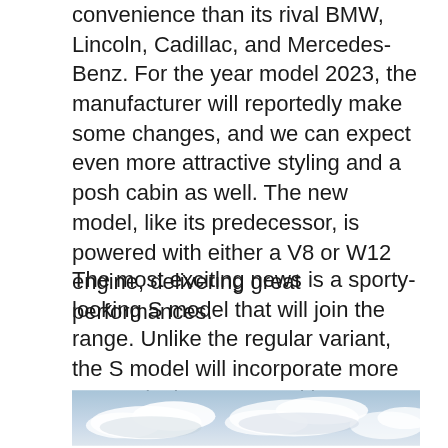convenience than its rival BMW, Lincoln, Cadillac, and Mercedes-Benz. For the year model 2023, the manufacturer will reportedly make some changes, and we can expect even more attractive styling and a posh cabin as well. The new model, like its predecessor, is powered with either a V8 or W12 engine, delivering great performances.
The most exciting news is a sporty-looking S model that will join the range. Unlike the regular variant, the S model will incorporate more sporty design cues, and it's powered by the same 542-hp V8 that serves as the Bentayga's base engine.
[Figure (photo): Sky with clouds, partially cropped at bottom of page]